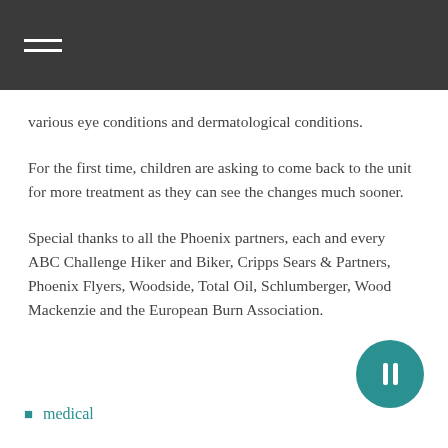various eye conditions and dermatological conditions.
For the first time, children are asking to come back to the unit for more treatment as they can see the changes much sooner.
Special thanks to all the Phoenix partners, each and every ABC Challenge Hiker and Biker, Cripps Sears & Partners, Phoenix Flyers, Woodside, Total Oil, Schlumberger, Wood Mackenzie and the European Burn Association.
medical